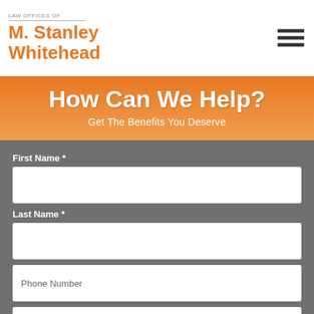LAW OFFICES OF M. Stanley Whitehead
How Can We Help?
Get The Benefits You Deserve
First Name *
Last Name *
Phone Number
Email Address
What Type of Disability Claim Are You Making?